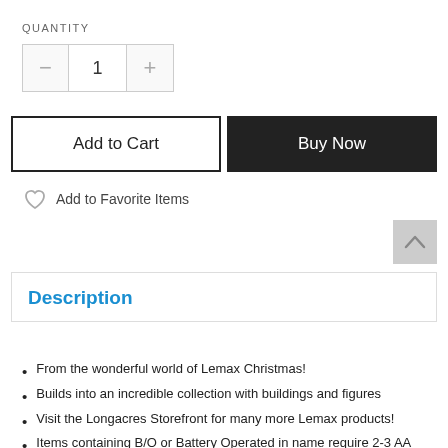QUANTITY
[Figure (screenshot): Quantity selector with minus, 1, and plus buttons]
[Figure (screenshot): Add to Cart and Buy Now buttons]
Add to Favorite Items
Description
From the wonderful world of Lemax Christmas!
Builds into an incredible collection with buildings and figures
Visit the Longacres Storefront for many more Lemax products!
Items containing B/O or Battery Operated in name require 2-3 AA batteries (3V=2 / 4.5V=3)